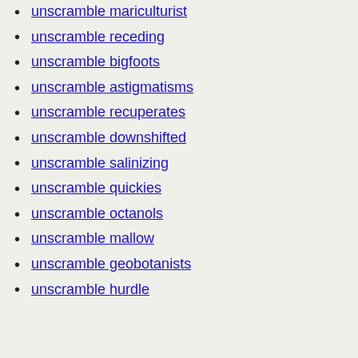unscramble mariculturist
unscramble receding
unscramble bigfoots
unscramble astigmatisms
unscramble recuperates
unscramble downshifted
unscramble salinizing
unscramble quickies
unscramble octanols
unscramble mallow
unscramble geobotanists
unscramble hurdle